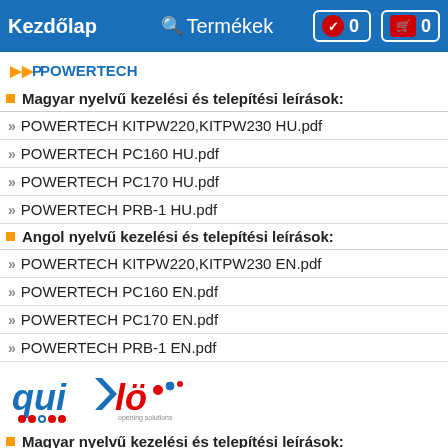Kezdőlap   Termékek   0   0
[Figure (logo): POWERTECH logo with arrow symbol in blue and orange]
Magyar nyelvű kezelési és telepítési leírások:
POWERTECH KITPW220,KITPW230 HU.pdf
POWERTECH PC160 HU.pdf
POWERTECH PC170 HU.pdf
POWERTECH PRB-1 HU.pdf
Angol nyelvű kezelési és telepítési leírások:
POWERTECH KITPW220,KITPW230 EN.pdf
POWERTECH PC160 EN.pdf
POWERTECH PC170 EN.pdf
POWERTECH PRB-1 EN.pdf
[Figure (logo): Quiko logo - opening solutions brand in blue and red]
Magyar nyelvű kezelési és telepítési leírások:
QUIKO QK-CE220RL HU.pdf
QUIKO QK-M300B,_M600B,_M600,_M800,_M1200,_M1500,_M2000